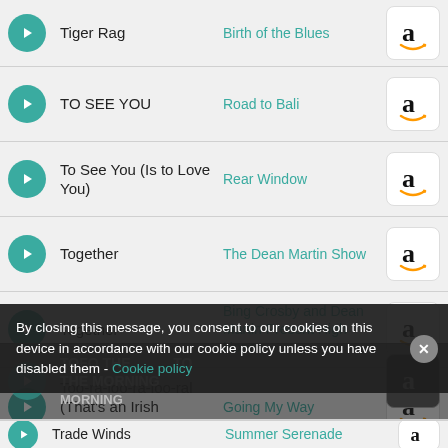Tiger Rag | Birth of the Blues
TO SEE YOU | Road to Bali
To See You (Is to Love You) | Rear Window
Together | The Dean Martin Show
Together | Bing Crosby and Dean Martin Present High Hopes
Too-ra-loo-ra-loo-ral (That's an Irish Lullaby) | Going My Way
TOFO THE ... TO THE MORNING | (obscured)
Trade Winds | Summer Serenade (partial)
By closing this message, you consent to our cookies on this device in accordance with our cookie policy unless you have disabled them - Cookie policy